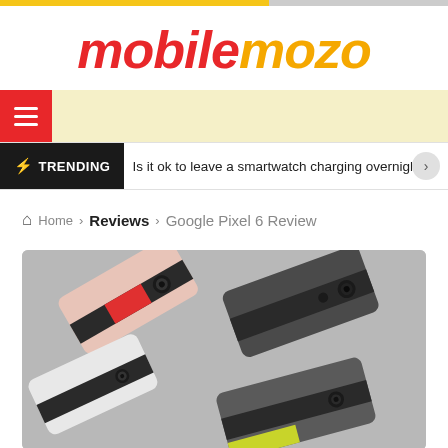mobilemozo
[Figure (screenshot): Navigation bar with hamburger menu icon on orange background]
⚡ TRENDING  Is it ok to leave a smartwatch charging overnight?
🏠 Home › Reviews › Google Pixel 6 Review
[Figure (photo): Google Pixel 6 smartphones in multiple colors (pink/rose, white, dark grey/charcoal) shown from above on a grey surface]